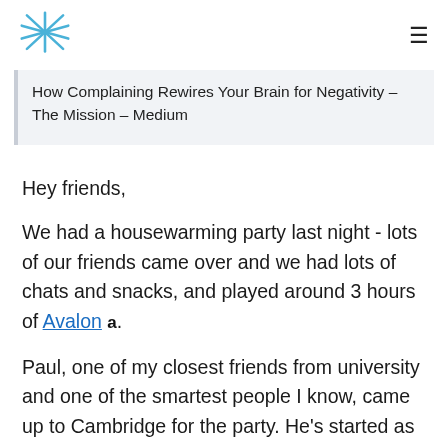How Complaining Rewires Your Brain for Negativity – The Mission – Medium
Hey friends,
We had a housewarming party last night - lots of our friends came over and we had lots of chats and snacks, and played around 3 hours of Avalon.
Paul, one of my closest friends from university and one of the smartest people I know, came up to Cambridge for the party. He's started as a junior